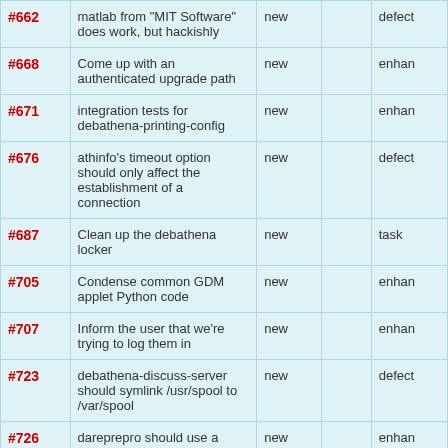| # | Description | Status |  | Type |
| --- | --- | --- | --- | --- |
| #662 | matlab from "MIT Software" does work, but hackishly | new |  | defect |
| #668 | Come up with an authenticated upgrade path | new |  | enhan |
| #671 | integration tests for debathena-printing-config | new |  | enhan |
| #676 | athinfo's timeout option should only affect the establishment of a connection | new |  | defect |
| #687 | Clean up the debathena locker | new |  | task |
| #705 | Condense common GDM applet Python code | new |  | enhan |
| #707 | Inform the user that we're trying to log them in | new |  | enhan |
| #723 | debathena-discuss-server should symlink /usr/spool to /var/spool | new |  | defect |
| #726 | dareprepro should use a global lock | new |  | enhan |
| #774 |  |  |  |  |